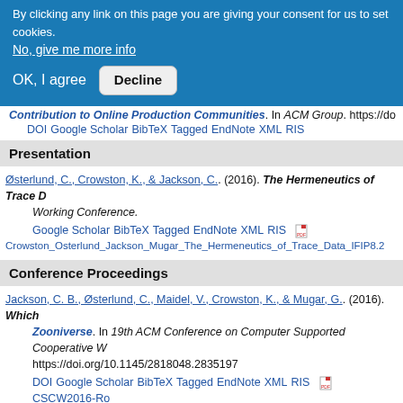By clicking any link on this page you are giving your consent for us to set cookies.
No, give me more info
OK, I agree   Decline
Contribution to Online Production Communities. In ACM Group. https://do DOI Google Scholar BibTeX Tagged EndNote XML RIS
Presentation
Østerlund, C., Crowston, K., & Jackson, C.. (2016). The Hermeneutics of Trace D Working Conference.
Google Scholar BibTeX Tagged EndNote XML RIS [pdf icon] Crowston_Osterlund_Jackson_Mugar_The_Hermeneutics_of_Trace_Data_IFIP8.2
Conference Proceedings
Jackson, C. B., Østerlund, C., Maidel, V., Crowston, K., & Mugar, G.. (2016). Which Zooniverse. In 19th ACM Conference on Computer Supported Cooperative W https://doi.org/10.1145/2818048.2835197
DOI Google Scholar BibTeX Tagged EndNote XML RIS [pdf] CSCW2016-Ro
Mugar, G., Østerlund, C., Jackson, C., & Crowston, K.. (2015). Being Present in O International Conference on Communities and Technologies. https://doi.org
DOI Google Scholar BibTeX Tagged EndNote XML RIS [pdf] C&T_2015_FIN